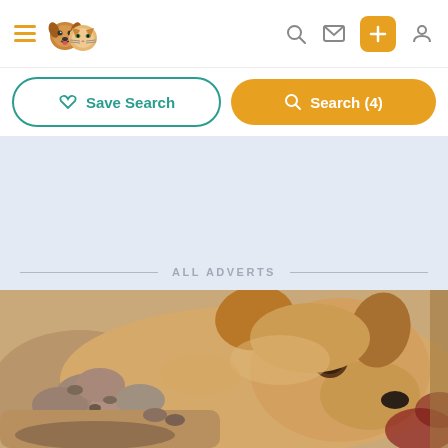Pet classifieds website header with hamburger menu, logo, search, message, add (+), and user account icons
Save Search | Search (4)
[Figure (other): Light blue advertisement banner placeholder area]
ALL ADVERTS
[Figure (photo): A golden Labrador mother dog lying down nursing several newborn puppies, looking at the camera]